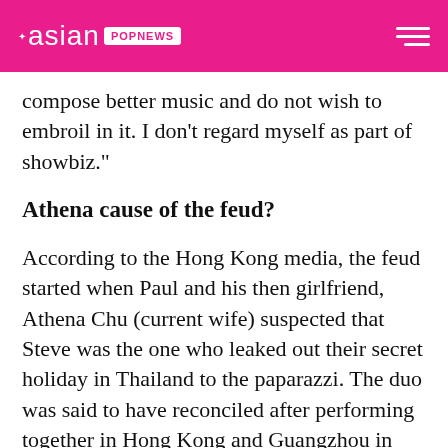asian POPNEWS
compose better music and do not wish to embroil in it. I don’t regard myself as part of showbiz.”
Athena cause of the feud?
According to the Hong Kong media, the feud started when Paul and his then girlfriend, Athena Chu (current wife) suspected that Steve was the one who leaked out their secret holiday in Thailand to the paparazzi. The duo was said to have reconciled after performing together in Hong Kong and Guangzhou in 2009.